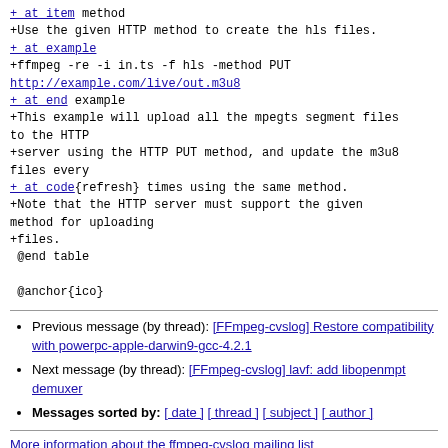+ at item method
+Use the given HTTP method to create the hls files.
+ at example
+ffmpeg -re -i in.ts -f hls -method PUT
http://example.com/live/out.m3u8
+ at end example
+This example will upload all the mpegts segment files to the HTTP
+server using the HTTP PUT method, and update the m3u8 files every
+ at code{refresh} times using the same method.
+Note that the HTTP server must support the given method for uploading
+files.
 @end table

 @anchor{ico}
Previous message (by thread): [FFmpeg-cvslog] Restore compatibility with powerpc-apple-darwin9-gcc-4.2.1
Next message (by thread): [FFmpeg-cvslog] lavf: add libopenmpt demuxer
Messages sorted by: [ date ] [ thread ] [ subject ] [ author ]
More information about the ffmpeg-cvslog mailing list